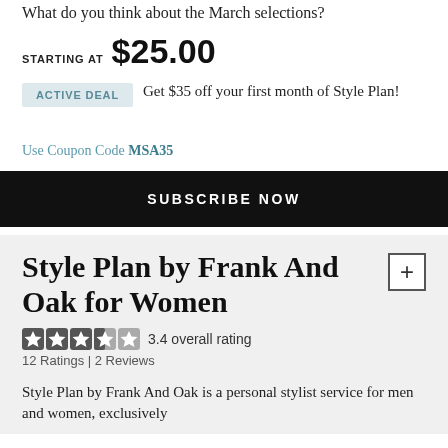What do you think about the March selections?
STARTING AT $25.00
ACTIVE DEAL   Get $35 off your first month of Style Plan!
Use Coupon Code MSA35
SUBSCRIBE NOW
Style Plan by Frank And Oak for Women
3.4 overall rating
12 Ratings | 2 Reviews
Style Plan by Frank And Oak is a personal stylist service for men and women, exclusively...